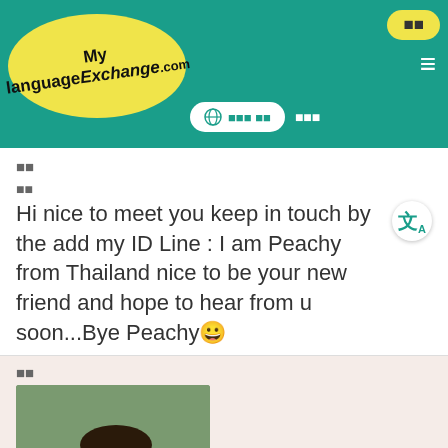[Figure (screenshot): MyLanguageExchange.com website header with teal background, yellow oval logo, hamburger menu, language selector button]
보낸
받은
Hi nice to meet you keep in touch by the add my ID Line : I am Peachy from Thailand nice to be your new friend and hope to hear from u soon...Bye Peachy😊
답장
[Figure (photo): Profile photo of a young Asian man standing near green machinery outdoors]
Settasub
Add to Favorites